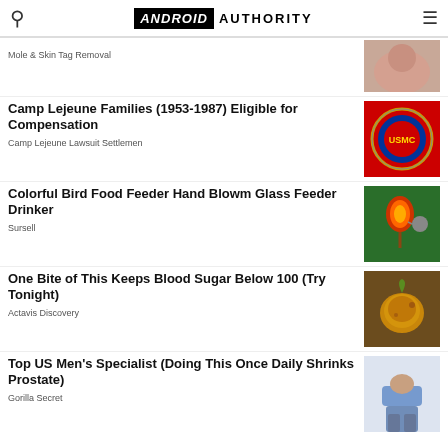ANDROID AUTHORITY
Mole & Skin Tag Removal
Camp Lejeune Families (1953-1987) Eligible for Compensation
Camp Lejeune Lawsuit Settlemen
Colorful Bird Food Feeder Hand Blowm Glass Feeder Drinker
Sursell
One Bite of This Keeps Blood Sugar Below 100 (Try Tonight)
Actavis Discovery
Top US Men's Specialist (Doing This Once Daily Shrinks Prostate)
Gorilla Secret